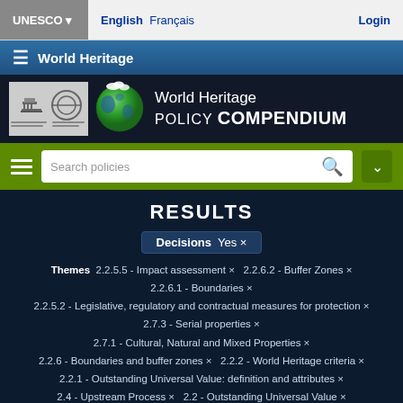UNESCO ▾  English  Français  Login
≡ World Heritage
[Figure (screenshot): World Heritage Policy Compendium banner with globe logo and UNESCO logos]
[Figure (screenshot): Green search bar with hamburger menu, search input 'Search policies', search icon, and dropdown arrow]
RESULTS
Decisions Yes ×
Themes 2.2.5.5 - Impact assessment × 2.2.6.2 - Buffer Zones × 2.2.6.1 - Boundaries × 2.2.5.2 - Legislative, regulatory and contractual measures for protection × 2.7.3 - Serial properties × 2.7.1 - Cultural, Natural and Mixed Properties × 2.2.6 - Boundaries and buffer zones × 2.2.2 - World Heritage criteria × 2.2.1 - Outstanding Universal Value: definition and attributes × 2.4 - Upstream Process × 2.2 - Outstanding Universal Value ×